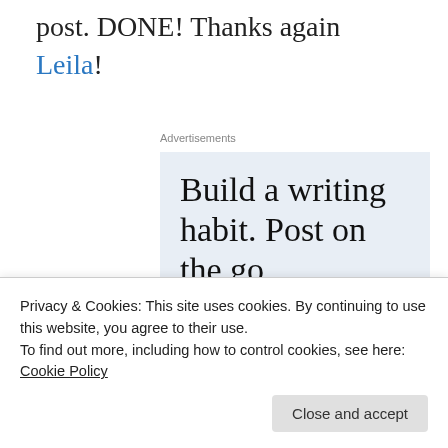post. DONE! Thanks again Leila!
Advertisements
[Figure (infographic): WordPress app advertisement banner with light blue background. Large serif text reads 'Build a writing habit. Post on the go.' At the bottom, blue uppercase text reads 'GET THE APP' alongside a blue WordPress circular logo icon.]
Privacy & Cookies: This site uses cookies. By continuing to use this website, you agree to their use.
To find out more, including how to control cookies, see here: Cookie Policy
Close and accept